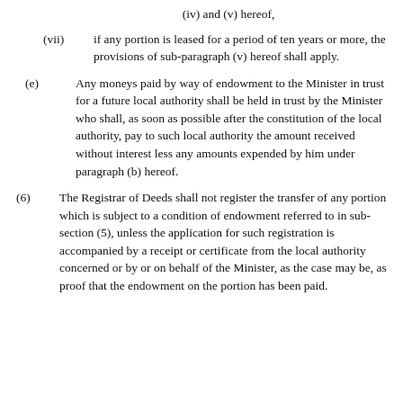(iv) and (v) hereof,
(vii) if any portion is leased for a period of ten years or more, the provisions of sub-paragraph (v) hereof shall apply.
(e) Any moneys paid by way of endowment to the Minister in trust for a future local authority shall be held in trust by the Minister who shall, as soon as possible after the constitution of the local authority, pay to such local authority the amount received without interest less any amounts expended by him under paragraph (b) hereof.
(6) The Registrar of Deeds shall not register the transfer of any portion which is subject to a condition of endowment referred to in sub-section (5), unless the application for such registration is accompanied by a receipt or certificate from the local authority concerned or by or on behalf of the Minister, as the case may be, as proof that the endowment on the portion has been paid.